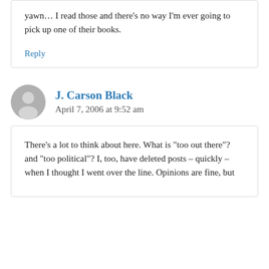yawn… I read those and there’s no way I’m ever going to pick up one of their books.
Reply
J. Carson Black
April 7, 2006 at 9:52 am
There’s a lot to think about here. What is “too out there”? and “too political”? I, too, have deleted posts – quickly – when I thought I went over the line. Opinions are fine, but